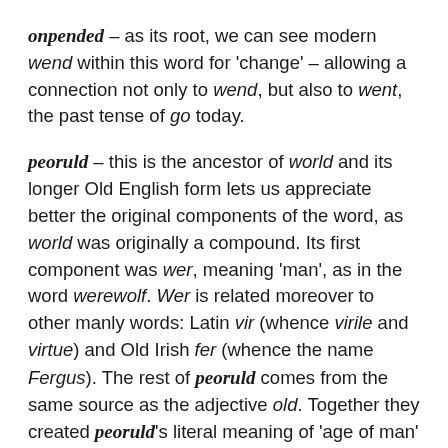onpended – as its root, we can see modern wend within this word for 'change' – allowing a connection not only to wend, but also to went, the past tense of go today.
peoruld – this is the ancestor of world and its longer Old English form lets us appreciate better the original components of the word, as world was originally a compound. Its first component was wer, meaning 'man', as in the word werewolf. Wer is related moreover to other manly words: Latin vir (whence virile and virtue) and Old Irish fer (whence the name Fergus). The rest of peoruld comes from the same source as the adjective old. Together they created peoruld's literal meaning of 'age of man' – that is, the sum of human affairs and the material, temporal existence we are engaged in. To refer to our planetary home instead, Old English would